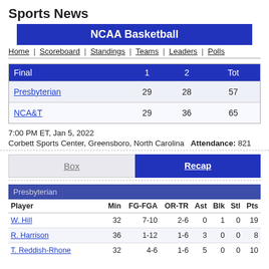Sports News
NCAA Basketball
Home | Scoreboard | Standings | Teams | Leaders | Polls
| Final | 1 | 2 | Tot |
| --- | --- | --- | --- |
| Presbyterian | 29 | 28 | 57 |
| NCA&T | 29 | 36 | 65 |
7:00 PM ET, Jan 5, 2022
Corbett Sports Center, Greensboro, North Carolina  Attendance: 821
Box | Recap
Presbyterian
| Player | Min | FG-FGA | OR-TR | Ast | Blk | Stl | Pts |
| --- | --- | --- | --- | --- | --- | --- | --- |
| W. Hill | 32 | 7-10 | 2-6 | 0 | 1 | 0 | 19 |
| R. Harrison | 36 | 1-12 | 1-6 | 3 | 0 | 0 | 8 |
| T. Reddish-Rhone | 32 | 4-6 | 1-6 | 5 | 0 | 0 | 10 |